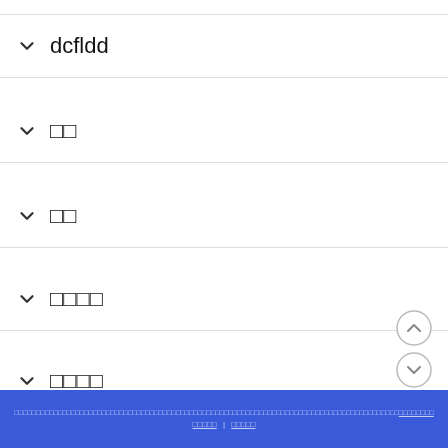dcfldd
□□
□□
□□□□
□□□□
□□□□□□□□□□□□□□□□□□□□□□□□□□□□□□□□□□□□□□□□□□□□□□□□□□□□□□□□□□□□□□□□□□□□□□□□□□□□□□□□□□□□□□□□□□□□□□ | □□□□□□